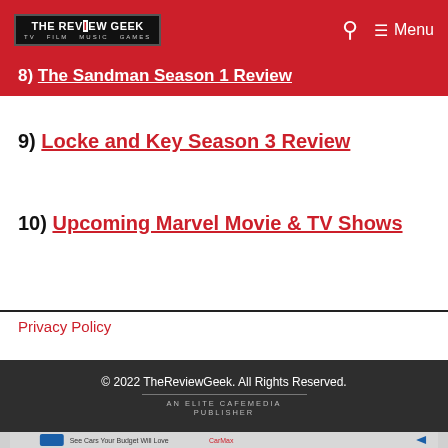THE REVIEW GEEK — TV FILM MUSIC GAMES | Menu
8) The Sandman Season 1 Review
9) Locke and Key Season 3 Review
10) Upcoming Marvel Movie & TV Shows
Privacy Policy
© 2022 TheReviewGeek. All Rights Reserved. AN ELITE CAFEMEDIA PUBLISHER
[Figure (other): CarMax advertisement: See Cars Your Budget Will Love — CarMax logo with diamond icon]